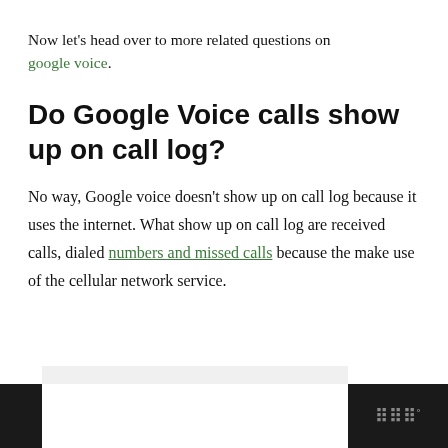Now let’s head over to more related questions on google voice.
Do Google Voice calls show up on call log?
No way, Google voice doesn’t show up on call log because it uses the internet. What show up on call log are received calls, dialed numbers and missed calls because the make use of the cellular network service.